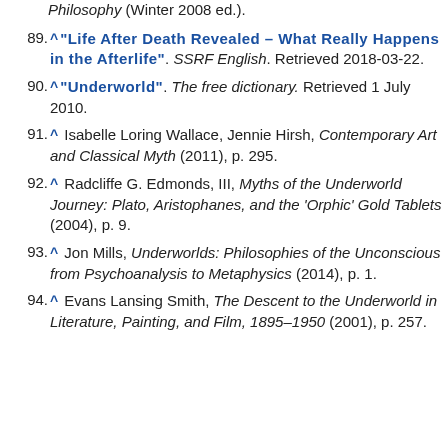(partial) Philosophy (Winter 2008 ed.).
89. ^ "Life After Death Revealed – What Really Happens in the Afterlife". SSRF English. Retrieved 2018-03-22.
90. ^ "Underworld". The free dictionary. Retrieved 1 July 2010.
91. ^ Isabelle Loring Wallace, Jennie Hirsh, Contemporary Art and Classical Myth (2011), p. 295.
92. ^ Radcliffe G. Edmonds, III, Myths of the Underworld Journey: Plato, Aristophanes, and the 'Orphic' Gold Tablets (2004), p. 9.
93. ^ Jon Mills, Underworlds: Philosophies of the Unconscious from Psychoanalysis to Metaphysics (2014), p. 1.
94. ^ Evans Lansing Smith, The Descent to the Underworld in Literature, Painting, and Film, 1895–1950 (2001), p. 257.